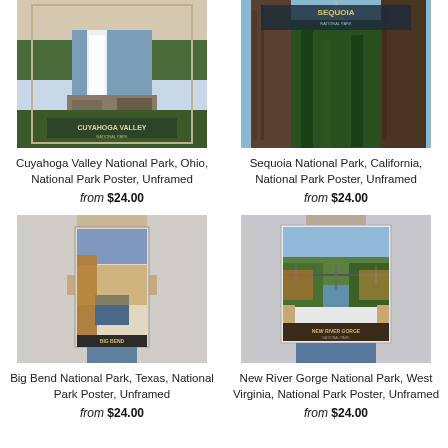[Figure (illustration): National park poster for Cuyahoga Valley National Park showing a waterfall scene]
Cuyahoga Valley National Park, Ohio, National Park Poster, Unframed
from $24.00
[Figure (illustration): National park poster for Sequoia National Park showing giant sequoia trees]
Sequoia National Park, California, National Park Poster, Unframed
from $24.00
[Figure (photo): Person holding Big Bend National Park poster showing canyon and river scene]
Big Bend National Park, Texas, National Park Poster, Unframed
from $24.00
[Figure (photo): Person holding New River Gorge National Park poster showing bridge and gorge]
New River Gorge National Park, West Virginia, National Park Poster, Unframed
from $24.00